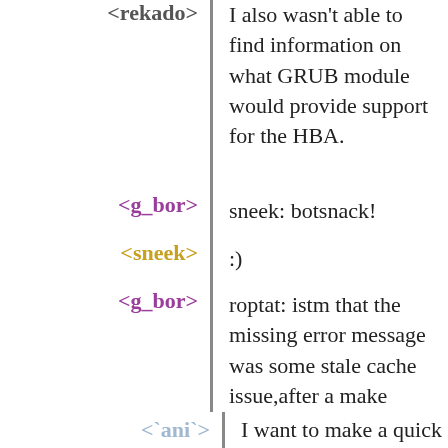<rekado> I also wasn't able to find information on what GRUB module would provide support for the HBA.
<g_bor> sneek: botsnack!
<sneek> :)
<g_bor> roptat: istm that the missing error message was some stale cache issue,after a make check I can see the error message.
<roptat> g_bor: ok
<`ani`> I want to make a quick